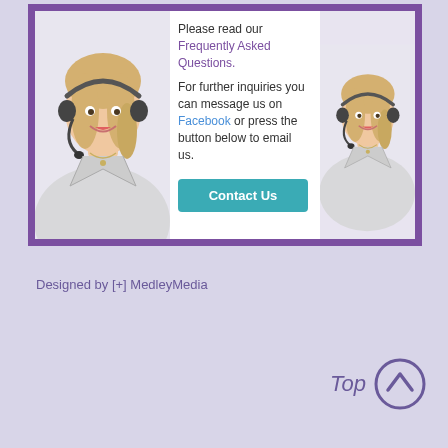[Figure (illustration): A customer service representative (woman with headset, white shirt, smiling) shown twice side by side within a purple-bordered white box. Center column contains text and a teal Contact Us button.]
Please read our Frequently Asked Questions. For further inquiries you can message us on Facebook or press the button below to email us. Contact Us
Designed by [+] MedleyMedia
Top